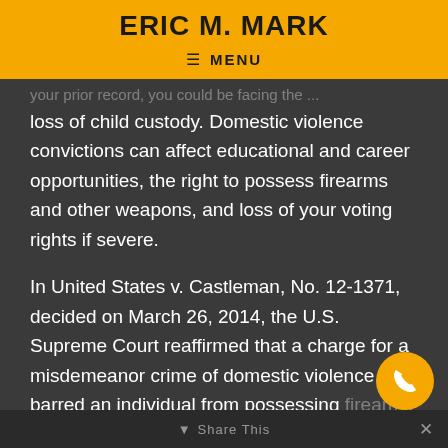ERIC M. MARK
≡ MENU
loss of child custody. Domestic violence convictions can affect educational and career opportunities, the right to possess firearms and other weapons, and loss of your voting rights if severe.
In United States v. Castleman, No. 12-1371, decided on March 26, 2014, the U.S. Supreme Court reaffirmed that a charge for a misdemeanor crime of domestic violence barred an individual from possessing firearms as previously established. The